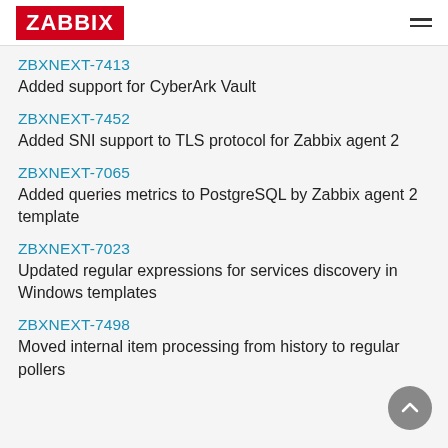ZABBIX
ZBXNEXT-7413
Added support for CyberArk Vault
ZBXNEXT-7452
Added SNI support to TLS protocol for Zabbix agent 2
ZBXNEXT-7065
Added queries metrics to PostgreSQL by Zabbix agent 2 template
ZBXNEXT-7023
Updated regular expressions for services discovery in Windows templates
ZBXNEXT-7498
Moved internal item processing from history to regular pollers